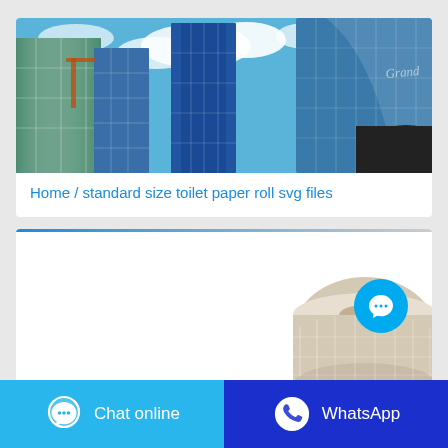[Figure (photo): Upward-angle photo of tall glass skyscrapers against a blue sky with white clouds]
Home / standard size toilet paper roll svg files
[Figure (photo): Toilet paper roll shown partially, cropped at bottom-right of card]
Chat online
WhatsApp